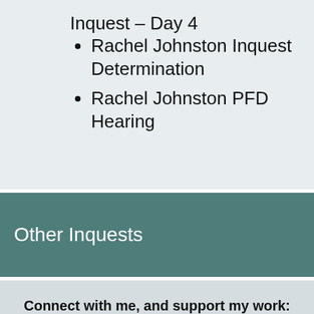Inquest – Day 4
Rachel Johnston Inquest Determination
Rachel Johnston PFD Hearing
Other Inquests
Connect with me, and support my work: